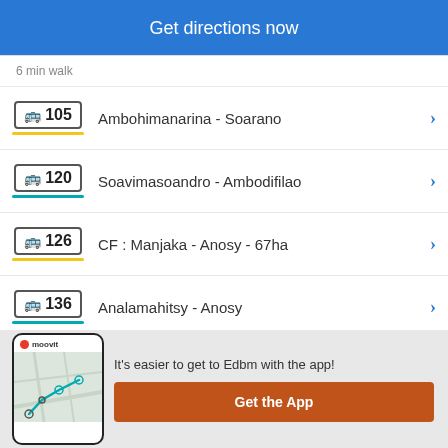Get directions now
6 min walk
105 Ambohimanarina - Soarano
120 Soavimasoandro - Ambodifilao
126 CF : Manjaka - Anosy - 67ha
136 Analamahitsy - Anosy
It's easier to get to Edbm with the app!
Get the App